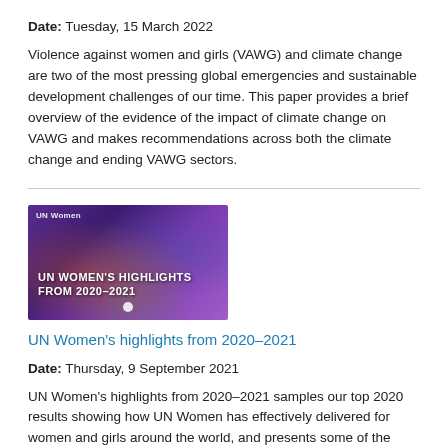Date: Tuesday, 15 March 2022
Violence against women and girls (VAWG) and climate change are two of the most pressing global emergencies and sustainable development challenges of our time. This paper provides a brief overview of the evidence of the impact of climate change on VAWG and makes recommendations across both the climate change and ending VAWG sectors.
[Figure (photo): Thumbnail image for UN Women highlights 2020-2021 publication, showing a collage of diverse women and girls with text 'UN WOMEN'S HIGHLIGHTS FROM 2020-2021' overlaid on a purple/violet background.]
UN Women's highlights from 2020–2021
Date: Thursday, 9 September 2021
UN Women's highlights from 2020–2021 samples our top 2020 results showing how UN Women has effectively delivered for women and girls around the world, and presents some of the people who have inspired us most over the past year.